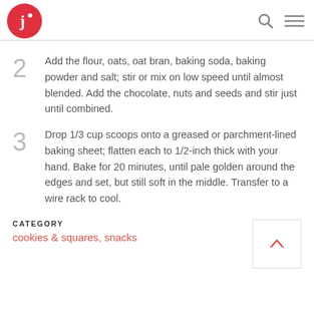J logo, search icon, menu icon
2  Add the flour, oats, oat bran, baking soda, baking powder and salt; stir or mix on low speed until almost blended. Add the chocolate, nuts and seeds and stir just until combined.
3  Drop 1/3 cup scoops onto a greased or parchment-lined baking sheet; flatten each to 1/2-inch thick with your hand. Bake for 20 minutes, until pale golden around the edges and set, but still soft in the middle. Transfer to a wire rack to cool.
CATEGORY
cookies & squares, snacks